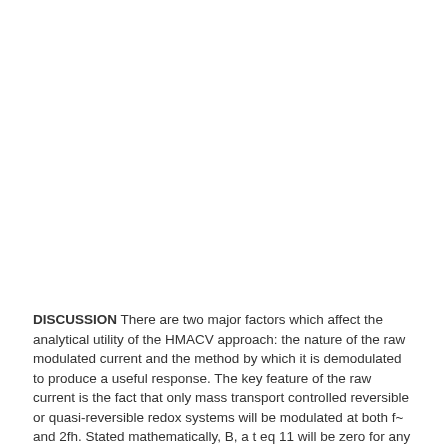DISCUSSION There are two major factors which affect the analytical utility of the HMACV approach: the nature of the raw modulated current and the method by which it is demodulated to produce a useful response. The key feature of the raw current is the fact that only mass transport controlled reversible or quasi-reversible redox systems will be modulated at both f~ and 2fh. Stated mathematically, B, a t eq 11 will be zero for any process which is unaffected by mass transport, e.g. capacitance and